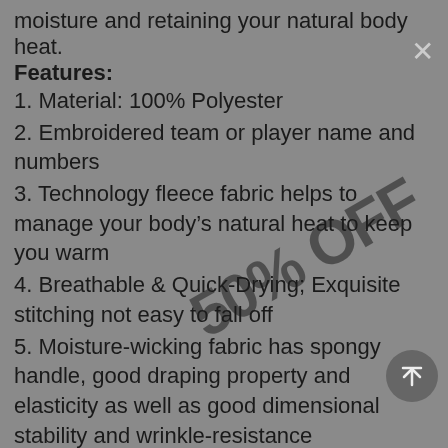moisture and retaining your natural body heat.
Features:
1. Material: 100% Polyester
2. Embroidered team or player name and numbers
3. Technology fleece fabric helps to manage your body’s natural heat to keep you warm
4. Breathable & Quick-Drying; Exquisite stitching not easy to fall off
5. Moisture-wicking fabric has spongy handle, good draping property and elasticity as well as good dimensional stability and wrinkle-resistance
6. Rib-knit cuffs and waistband
7. Hood with adjustable drawstring
8. Midweight hoodie suitable for moderate temperatures
9. Tagless Collar
10. Machine wash, tumble dry low (natural air drying recommended)